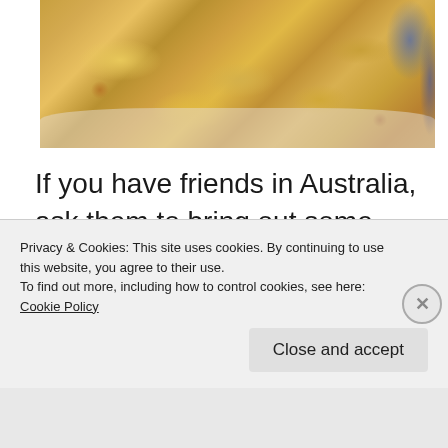[Figure (photo): Close-up photo of a pavlova dessert topped with caramelized fruit pieces (peaches/mangoes) with cream visible on the edges, along with a blue product container visible at the top right corner.]
If you have friends in Australia, ask them to bring out some canned passion fruit syrup.  This acts as the area rug and pulls the pav together.  It is impossible to find in France, so I am very careful with each drop we use
Privacy & Cookies: This site uses cookies. By continuing to use this website, you agree to their use.
To find out more, including how to control cookies, see here: Cookie Policy
Close and accept